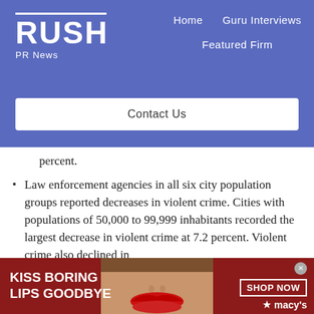RUSH PR News — Home | Guru Interviews | Featured Firm | Contact Us
percent.
Law enforcement agencies in all six city population groups reported decreases in violent crime. Cities with populations of 50,000 to 99,999 inhabitants recorded the largest decrease in violent crime at 7.2 percent. Violent crime also declined in
[Figure (advertisement): Macy's advertisement banner: 'KISS BORING LIPS GOODBYE' with woman's lips image and 'SHOP NOW ★ macy's' button on dark red background]